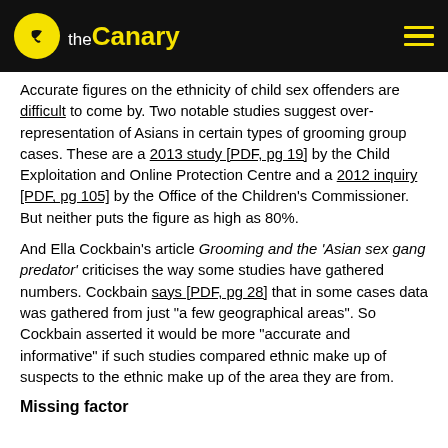the Canary
Accurate figures on the ethnicity of child sex offenders are difficult to come by. Two notable studies suggest over-representation of Asians in certain types of grooming group cases. These are a 2013 study [PDF, pg 19] by the Child Exploitation and Online Protection Centre and a 2012 inquiry [PDF, pg 105] by the Office of the Children's Commissioner. But neither puts the figure as high as 80%.
And Ella Cockbain's article Grooming and the 'Asian sex gang predator' criticises the way some studies have gathered numbers. Cockbain says [PDF, pg 28] that in some cases data was gathered from just "a few geographical areas". So Cockbain asserted it would be more "accurate and informative" if such studies compared ethnic make up of suspects to the ethnic make up of the area they are from.
Missing factor